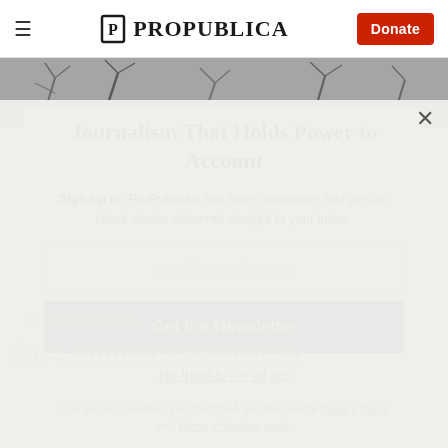ProPublica — Donate
[Figure (photo): Winter trees covered in snow, black and white photograph used as hero banner]
Journalism That Holds Power to Account
Sign up for ProPublica's Big Story newsletter and get our latest stories delivered straight to your inbox.
you@example.com
Get the Newsletter
No thanks, I'm all set
This site is protected by reCAPTCHA and the Google Privacy Policy and Terms of Service apply.
Criminal Justice
$1.4 Million Payment to